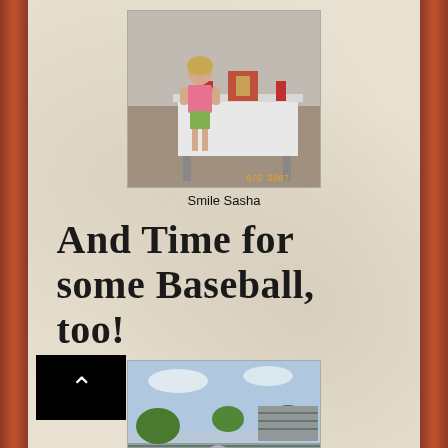[Figure (photo): A girl in a pink shirt and green shorts standing in front of a table with a white tablecloth and items on it. Date stamp reads 8/5 2007.]
Smile Sasha
And Time for some Baseball, too!
[Figure (photo): A child playing baseball on a dirt field, standing near home plate with a batting stance. Trees and bleachers visible in background.]
Baseball card: Charles
[Figure (photo): Partial view of another photo at the bottom of the page.]